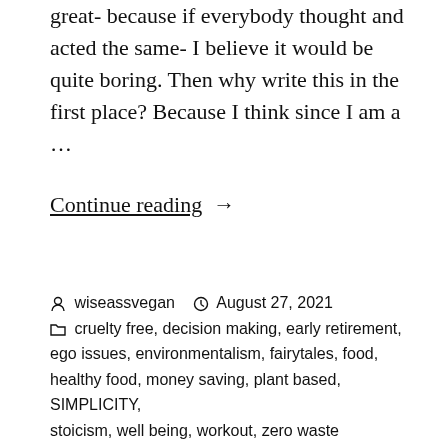great- because if everybody thought and acted the same- I believe it would be quite boring. Then why write this in the first place? Because I think since I am a …
Continue reading →
Posted by wiseassvegan  August 27, 2021  Categories: cruelty free, decision making, early retirement, ego issues, environmentalism, fairytales, food, healthy food, money saving, plant based, SIMPLICITY, stoicism, well being, workout, zero waste  Tags: raw  1 Comment